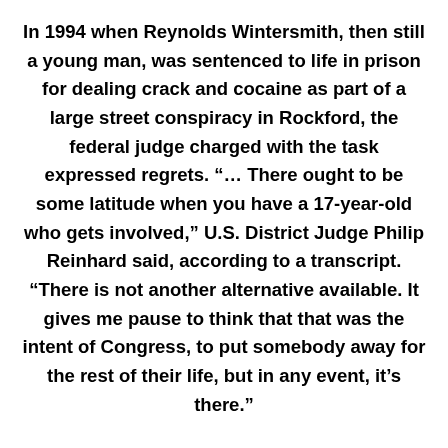In 1994 when Reynolds Wintersmith, then still a young man, was sentenced to life in prison for dealing crack and cocaine as part of a large street conspiracy in Rockford, the federal judge charged with the task expressed regrets. “… There ought to be some latitude when you have a 17-year-old who gets involved,” U.S. District Judge Philip Reinhard said, according to a transcript. “There is not another alternative available. It gives me pause to think that that was the intent of Congress, to put somebody away for the rest of their life, but in any event, it’s there.”
Reinhard, under mandatory sentencing laws in place at the time, had no choice. On Thursday, President Obama commuted the sentences of Wintersmith and seven other men and women who all were sent to prison for lengthy